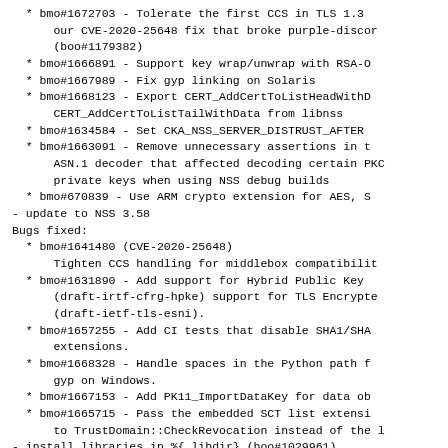* bmo#1672703 - Tolerate the first CCS in TLS 1.3
    our CVE-2020-25648 fix that broke purple-discor
    (boo#1179382)
* bmo#1666891 - Support key wrap/unwrap with RSA-O
* bmo#1667989 - Fix gyp linking on Solaris
* bmo#1668123 - Export CERT_AddCertToListHeadWithD
    CERT_AddCertToListTailWithData from libnss
* bmo#1634584 - Set CKA_NSS_SERVER_DISTRUST_AFTER
* bmo#1663091 - Remove unnecessary assertions in t
    ASN.1 decoder that affected decoding certain PKC
    private keys when using NSS debug builds
* bmo#670839 - Use ARM crypto extension for AES, S
- update to NSS 3.58
Bugs fixed:
* bmo#1641480 (CVE-2020-25648)
      Tighten CCS handling for middlebox compatibilit
* bmo#1631890 - Add support for Hybrid Public Key
      (draft-irtf-cfrg-hpke) support for TLS Encrypte
      (draft-ietf-tls-esni).
* bmo#1657255 - Add CI tests that disable SHA1/SHA
      extensions.
* bmo#1668328 - Handle spaces in the Python path f
      gyp on Windows.
* bmo#1667153 - Add PK11_ImportDataKey for data ob
* bmo#1665715 - Pass the embedded SCT list extensi
      to TrustDomain::CheckRevocation instead of the l
- install libraries in %{_libdir} (boo#1029961)
- Fix build with RPM 4.16: error: bare words are no
    supported, please use "/..."/: lib64 == lib64.
- update to NSS 3.57